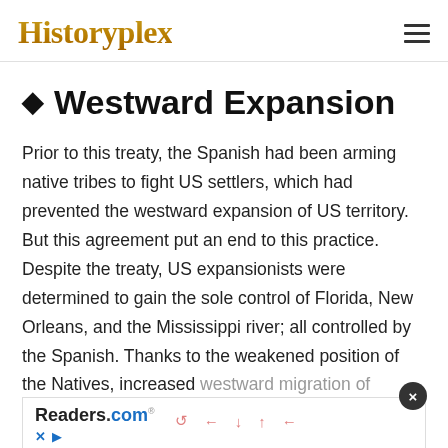Historyplex
♦ Westward Expansion
Prior to this treaty, the Spanish had been arming native tribes to fight US settlers, which had prevented the westward expansion of US territory. But this agreement put an end to this practice. Despite the treaty, US expansionists were determined to gain the sole control of Florida, New Orleans, and the Mississippi river; all controlled by the Spanish. Thanks to the weakened position of the Natives, increased westward migration of American settlers, and a weak Spanish administration, all these goals were fulfilled withi
[Figure (other): Readers.com advertisement banner with close button (X) and navigation icons]